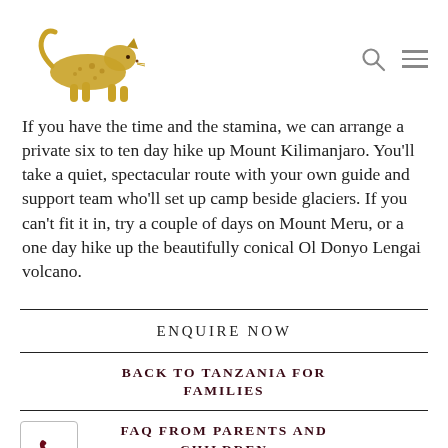[Figure (logo): Gold leopard/cheetah logo icon facing right]
If you have the time and the stamina, we can arrange a private six to ten day hike up Mount Kilimanjaro. You'll take a quiet, spectacular route with your own guide and support team who'll set up camp beside glaciers. If you can't fit it in, try a couple of days on Mount Meru, or a one day hike up the beautifully conical Ol Donyo Lengai volcano.
ENQUIRE NOW
BACK TO TANZANIA FOR FAMILIES
FAQ FROM PARENTS AND CHILDREN
THE EDUCATIONAL VALUE OF